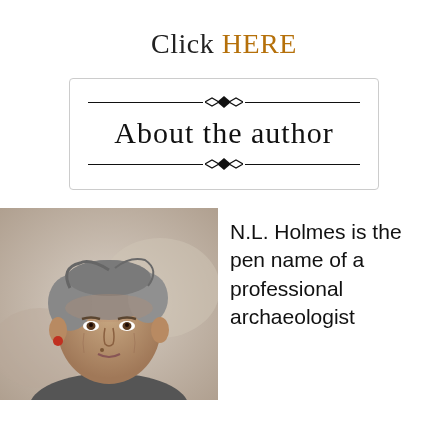Click HERE
About the author
[Figure (photo): Portrait photo of a middle-aged woman with short gray hair, facing slightly downward, outdoors with blurred background]
N.L. Holmes is the pen name of a professional archaeologist